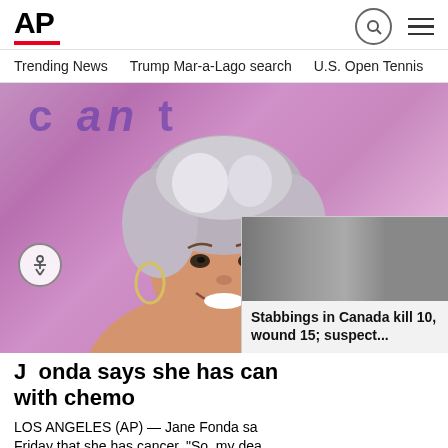[Figure (logo): AP (Associated Press) logo with red underbar]
Trending News   Trump Mar-a-Lago search   U.S. Open Tennis
[Figure (photo): Photo of Jane Fonda with gray hair smiling against purple/pink background]
Jane Fonda says she has cancer, treating with chemo
LOS ANGELES (AP) — Jane Fonda sa... Friday that she has cancer. "So, my dea
[Figure (photo): Breaking news popup thumbnail showing two men's mugshots with Canadian flags in background]
Stabbings in Canada kill 10, wound 15; suspect...